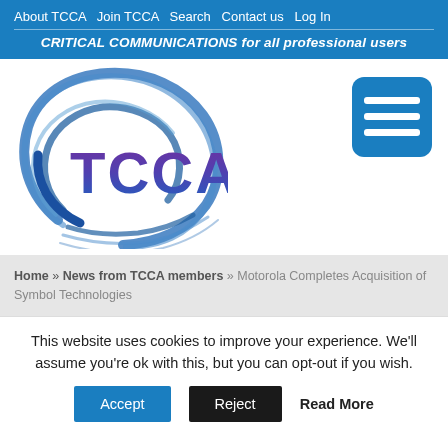About TCCA  Join TCCA  Search  Contact us  Log In
CRITICAL COMMUNICATIONS for all professional users
[Figure (logo): TCCA logo with blue swirling lines and purple/blue TCCA text]
[Figure (other): Hamburger menu button icon (three white horizontal lines on blue rounded square)]
Home » News from TCCA members » Motorola Completes Acquisition of Symbol Technologies
This website uses cookies to improve your experience. We'll assume you're ok with this, but you can opt-out if you wish.
Accept  Reject  Read More